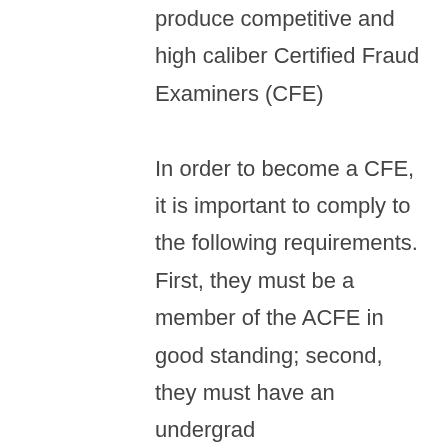produce competitive and high caliber Certified Fraud Examiners (CFE)

In order to become a CFE, it is important to comply to the following requirements. First, they must be a member of the ACFE in good standing; second, they must have an undergrad